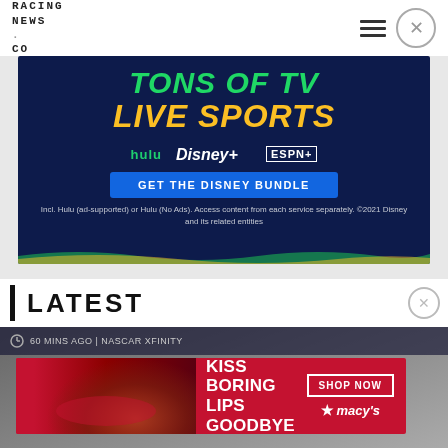RACING NEWS.CO
[Figure (screenshot): Disney Bundle advertisement with dark blue background. Text reads 'TONS OF TV' in green italic, 'LIVE SPORTS' in yellow italic. Shows Hulu, Disney+, and ESPN+ logos. Blue button: 'GET THE DISNEY BUNDLE'. Fine print: 'Incl. Hulu (ad-supported) or Hulu (No Ads). Access content from each service separately. ©2021 Disney and its related entities']
LATEST
60 MINS AGO | NASCAR XFINITY
[Figure (screenshot): Macy's advertisement with red background. Text reads 'KISS BORING LIPS GOODBYE' on the left, 'SHOP NOW' button and Macy's star logo on the right. Background shows a woman's face with red lipstick.]